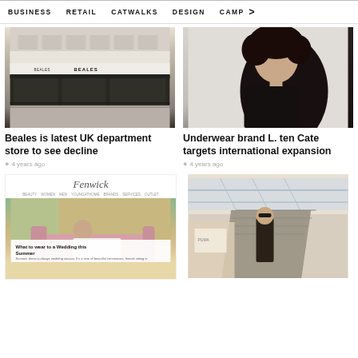BUSINESS  RETAIL  CATWALKS  DESIGN  CAMP >
[Figure (photo): Exterior photo of Beales department store front with signage]
Beales is latest UK department store to see decline
4 years ago
[Figure (photo): Woman with curly dark hair wearing black top against light background]
Underwear brand L. ten Cate targets international expansion
4 years ago
[Figure (screenshot): Fenwick website screenshot showing article 'What to wear to a Wedding this Summer' with woman on pink sofa]
[Figure (photo): Shopping mall interior with escalator and luxury store, person in dark jacket]